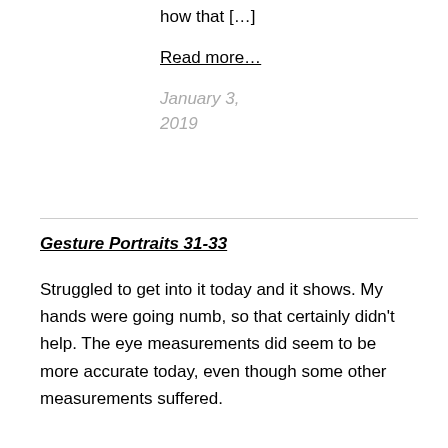how that […]
Read more…
January 3, 2019
Gesture Portraits 31-33
Struggled to get into it today and it shows. My hands were going numb, so that certainly didn't help. The eye measurements did seem to be more accurate today, even though some other measurements suffered.